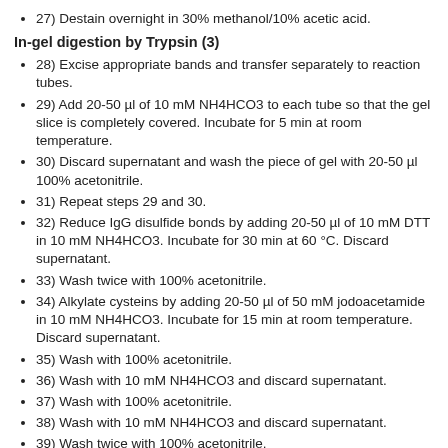27) Destain overnight in 30% methanol/10% acetic acid.
In-gel digestion by Trypsin (3)
28) Excise appropriate bands and transfer separately to reaction tubes.
29) Add 20-50 µl of 10 mM NH4HCO3 to each tube so that the gel slice is completely covered. Incubate for 5 min at room temperature.
30) Discard supernatant and wash the piece of gel with 20-50 µl 100% acetonitrile.
31) Repeat steps 29 and 30.
32) Reduce IgG disulfide bonds by adding 20-50 µl of 10 mM DTT in 10 mM NH4HCO3. Incubate for 30 min at 60 °C. Discard supernatant.
33) Wash twice with 100% acetonitrile.
34) Alkylate cysteins by adding 20-50 µl of 50 mM jodoacetamide in 10 mM NH4HCO3. Incubate for 15 min at room temperature. Discard supernatant.
35) Wash with 100% acetonitrile.
36) Wash with 10 mM NH4HCO3 and discard supernatant.
37) Wash with 100% acetonitrile.
38) Wash with 10 mM NH4HCO3 and discard supernatant.
39) Wash twice with 100% acetonitrile.
40) Digest IgG by 0.1 µg Trypsin in 20-50 µl 10 mM NH4HCO3. Incubate overnight at 37 °C.